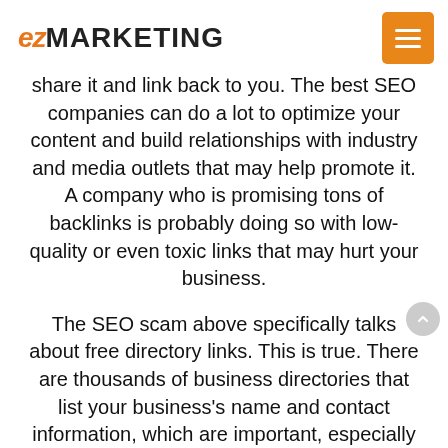ez MARKETING
share it and link back to you. The best SEO companies can do a lot to optimize your content and build relationships with industry and media outlets that may help promote it. A company who is promising tons of backlinks is probably doing so with low-quality or even toxic links that may hurt your business.
The SEO scam above specifically talks about free directory links. This is true. There are thousands of business directories that list your business's name and contact information, which are important, especially for local SEO. However, you don't just want to get a